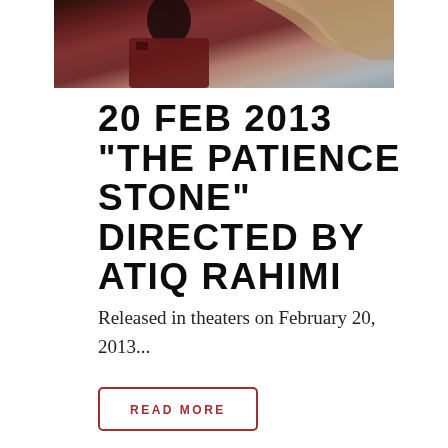[Figure (photo): Film still showing two people — a woman in dark red/maroon dress in foreground, another figure with flowing light-colored hair in background]
20 FEB 2013 "THE PATIENCE STONE" DIRECTED BY ATIQ RAHIMI
Released in theaters on February 20, 2013...
READ MORE